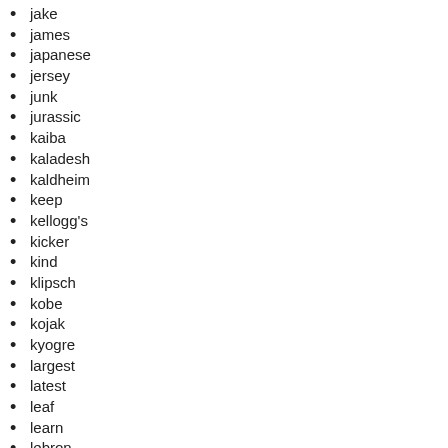jake
james
japanese
jersey
junk
jurassic
kaiba
kaladesh
kaldheim
keep
kellogg's
kicker
kind
klipsch
kobe
kojak
kyogre
largest
latest
leaf
learn
lebron